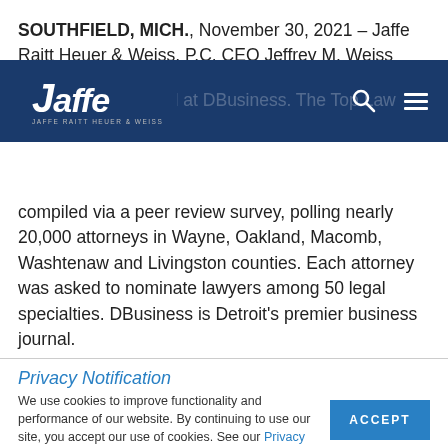SOUTHFIELD, MICH., November 30, 2021 – Jaffe Raitt Heuer & Weiss, P.C. CEO Jeffrey M. Weiss announced attorneys were recognized at DBusiness. The Top Lawyers list compiled via a peer review survey, polling nearly 20,000 attorneys in Wayne, Oakland, Macomb, Washtenaw and Livingston counties. Each attorney was asked to nominate lawyers among 50 legal specialties. DBusiness is Detroit's premier business journal.
[Figure (logo): Jaffe law firm navigation bar with logo, search icon, and hamburger menu on dark blue background]
Privacy Notification
We use cookies to improve functionality and performance of our website. By continuing to use our site, you accept our use of cookies. See our Privacy Policy for more information.